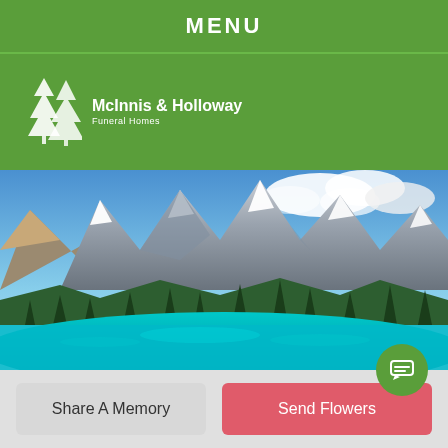MENU
[Figure (logo): McInnis & Holloway Funeral Homes logo with white pine tree icon on green background]
[Figure (photo): Scenic mountain landscape with turquoise blue lake (Moraine Lake, Banff), surrounded by evergreen forests and snow-capped Rocky Mountain peaks under blue sky with clouds]
Share A Memory
Send Flowers